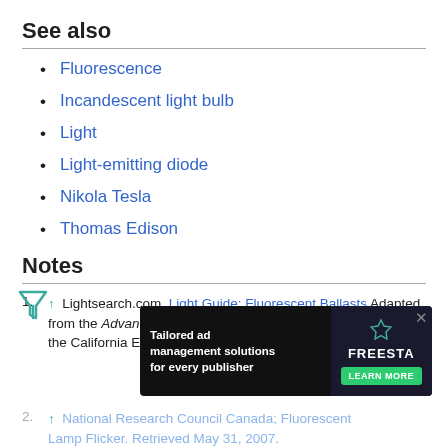See also
Fluorescence
Incandescent light bulb
Light
Light-emitting diode
Nikola Tesla
Thomas Edison
Notes
1. ↑ Lightsearch.com. Light Guide: Fluorescent Ballasts Adapted from the Advanced Lighting Guidelines originally published by the California Energy Commission.
2. ↑ National Research Council Canada; Fluorescent Lamp Flicker. Retrieved May 31, 2007.
[Figure (screenshot): Advertisement overlay: 'Tailored ad management solutions for every publisher' with Freesta branding and Learn More button]